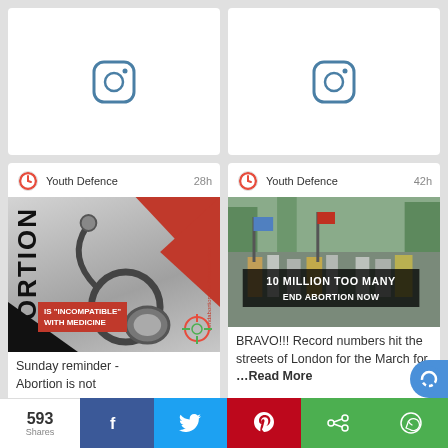[Figure (screenshot): Instagram card top left - white card with Instagram icon]
[Figure (screenshot): Instagram card top right - white card with Instagram icon]
[Figure (screenshot): Youth Defence post (28h) - abortion image with stethoscope, vertical ABORTION text, red triangles, IS INCOMPATIBLE WITH MEDICINE red box]
Sunday reminder - Abortion is not
[Figure (screenshot): Youth Defence post (42h) - photo of march with banner 10 MILLION TOO MANY END ABORTION NOW]
BRAVO!!! Record numbers hit the streets of London for the March for …Read More
593 Shares